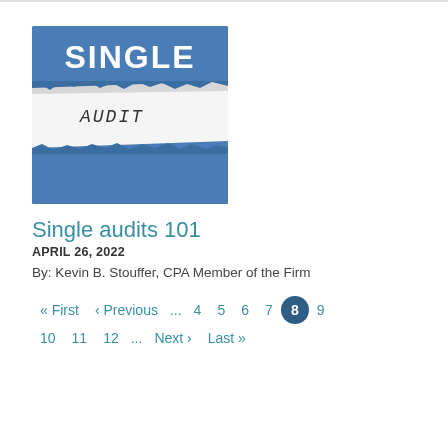[Figure (photo): Torn blue paper revealing white paper underneath. 'SINGLE' printed in bold white text on the blue paper, 'AUDIT' in typewriter font on the white paper below.]
Single audits 101
APRIL 26, 2022
By: Kevin B. Stouffer, CPA Member of the Firm
« First  ‹ Previous  ...  4  5  6  7  8  9  10  11  12  ...  Next ›  Last »